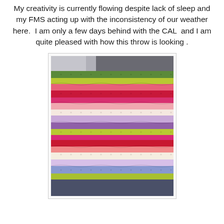My creativity is currently flowing despite lack of sleep and my FMS acting up with the inconsistency of our weather here.  I am only a few days behind with the CAL  and I am quite pleased with how this throw is looking .
[Figure (photo): A colorful crocheted striped throw blanket with horizontal stripes in green, yellow-green, pink, red, magenta, light pink, white, lavender, purple, yellow-green, magenta, red, pink, cream, lavender, blue, and yellow-green at the bottom. The blanket is draped over what appears to be a grey couch.]